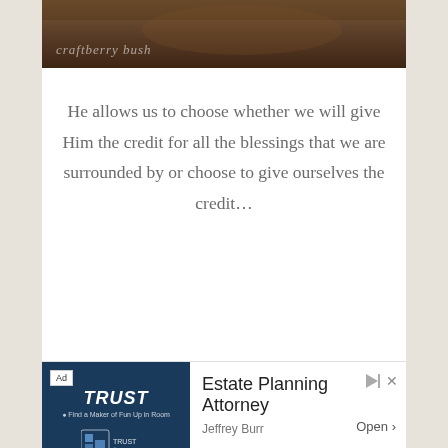[Figure (photo): Partial photo of food on a wooden board with 'craftberry bush' watermark text overlaid in light color]
He allows us to choose whether we will give Him the credit for all the blessings that we are surrounded by or choose to give ourselves the credit…
[Figure (other): Advertisement banner: Ad label, TRUST branding in navy blue background with figure image, Estate Planning Attorney - Jeffrey Burr, Open button]